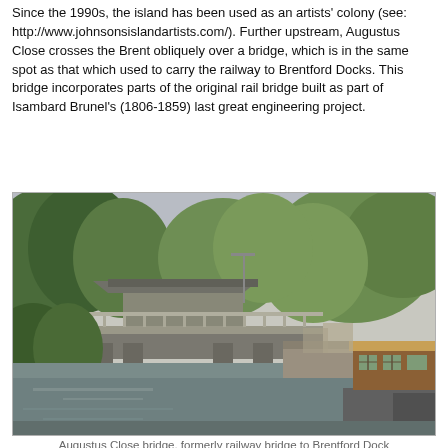Since the 1990s, the island has been used as an artists' colony (see: http://www.johnsonsislandartists.com/). Further upstream, Augustus Close crosses the Brent obliquely over a bridge, which is in the same spot as that which used to carry the railway to Brentford Docks. This bridge incorporates parts of the original rail bridge built as part of Isambard Brunel's (1806-1859) last great engineering project.
[Figure (photo): Photograph of Augustus Close bridge over the River Brent, showing a concrete road bridge that incorporates parts of the original rail bridge, surrounded by trees, with houseboats moored on the right bank.]
Augustus Close bridge, formerly railway bridge to Brentford Dock